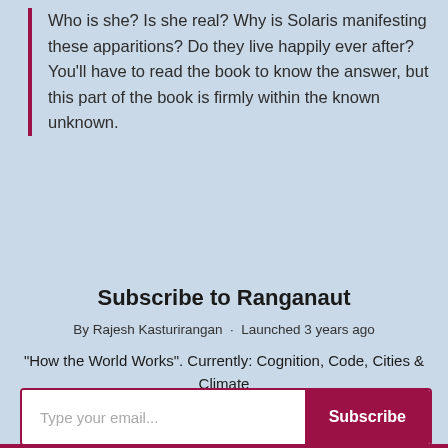Who is she? Is she real? Why is Solaris manifesting these apparitions? Do they live happily ever after? You'll have to read the book to know the answer, but this part of the book is firmly within the known unknown.
Subscribe to Ranganaut
By Rajesh Kasturirangan · Launched 3 years ago
"How the World Works". Currently: Cognition, Code, Cities & Climate